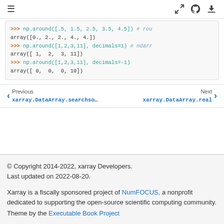[Figure (screenshot): Top navigation bar with hamburger menu icon on left, and fullscreen/GitHub/download icons on right]
>>> np.around([.5, 1.5, 2.5, 3.5, 4.5]) # rou
array([0., 2., 2., 4., 4.])
>>> np.around([1,2,3,11], decimals=1) # ndarr
array([ 1,  2,  3, 11])
>>> np.around([1,2,3,11], decimals=-1)
array([ 0,  0,  0, 10])
Previous
xarray.DataArray.searchso...
Next
xarray.DataArray.real
© Copyright 2014-2022, xarray Developers.
Last updated on 2022-08-20.

Xarray is a fiscally sponsored project of NumFOCUS, a nonprofit dedicated to supporting the open-source scientific computing community.
Theme by the Executable Book Project